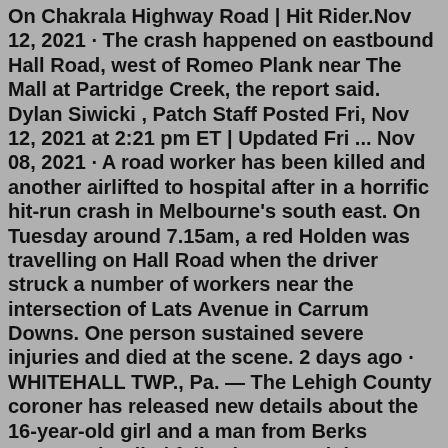On Chakrala Highway Road | Hit Rider.Nov 12, 2021 · The crash happened on eastbound Hall Road, west of Romeo Plank near The Mall at Partridge Creek, the report said. Dylan Siwicki , Patch Staff Posted Fri, Nov 12, 2021 at 2:21 pm ET | Updated Fri ... Nov 08, 2021 · A road worker has been killed and another airlifted to hospital after in a horrific hit-run crash in Melbourne's south east. On Tuesday around 7.15am, a red Holden was travelling on Hall Road when the driver struck a number of workers near the intersection of Lats Avenue in Carrum Downs. One person sustained severe injuries and died at the scene. 2 days ago · WHITEHALL TWP., Pa. — The Lehigh County coroner has released new details about the 16-year-old girl and a man from Berks County who died following a crash in Whitehall Township on Sunday night. Emergency services were called at 9.40pm last night (Tuesday) to reports of a crash involving a white BMW 5 series and a red Seat Ibiza on Wheatley Hall Road, at the junction with Neale Road. Nov 08, 2021 · A road worker has been killed and another airlifted to